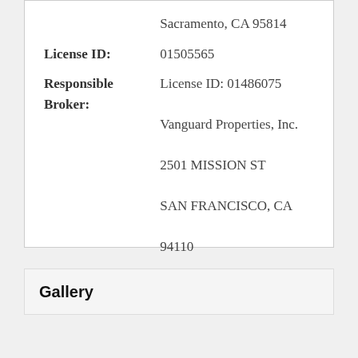Sacramento, CA 95814
License ID: 01505565
Responsible Broker: License ID: 01486075 Vanguard Properties, Inc. 2501 MISSION ST SAN FRANCISCO, CA 94110
Gallery